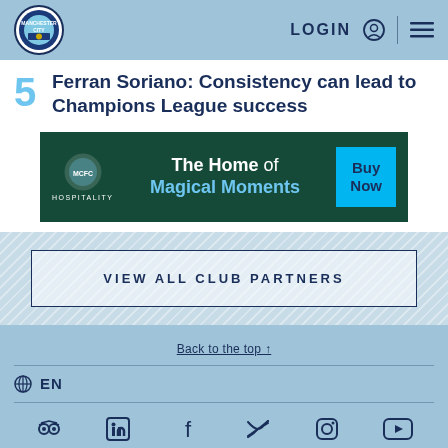LOGIN
Ferran Soriano: Consistency can lead to Champions League success
[Figure (infographic): Manchester City Hospitality ad banner: The Home of Magical Moments - Buy Now]
VIEW ALL CLUB PARTNERS
Back to the top ↑
EN
[Figure (infographic): Social media icons: Tripadvisor, LinkedIn, Facebook, Twitter, Instagram, YouTube]